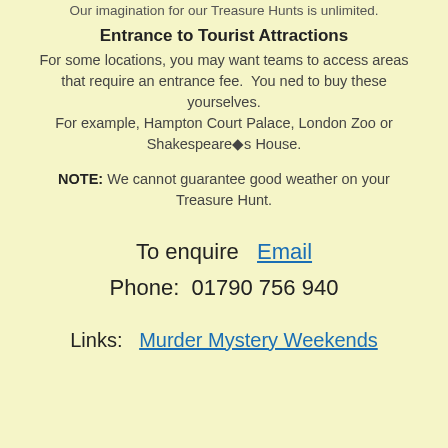Our imagination for our Treasure Hunts is unlimited.
Entrance to Tourist Attractions
For some locations, you may want teams to access areas that require an entrance fee.  You ned to buy these yourselves.
For example, Hampton Court Palace, London Zoo or Shakespeare�s House.
NOTE: We cannot guarantee good weather on your Treasure Hunt.
To enquire  Email
Phone:  01790 756 940
Links:   Murder Mystery Weekends